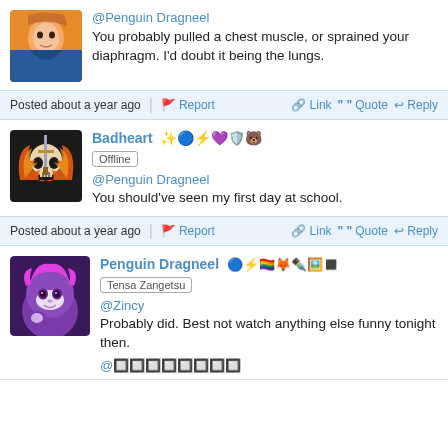[Figure (illustration): Avatar of a character with orange/blue tones]
@Penguin Dragneel
You probably pulled a chest muscle, or sprained your diaphragm. I'd doubt it being the lungs.
Posted about a year ago  🚩 Report  🔗 Link  " Quote  ↩ Reply
[Figure (illustration): Badheart avatar with fiery skull graphic]
Badheart [badges] Offline
@Penguin Dragneel
You should've seen my first day at school.
Posted about a year ago  🚩 Report  🔗 Link  " Quote  ↩ Reply
[Figure (illustration): Penguin Dragneel avatar with pink/purple fur character]
Penguin Dragneel [badges] Tensa Zangetsu
@Zincy
Probably did. Best not watch anything else funny tonight then.
@🔲🔲🔲🔲🔲🔲🔲🔲